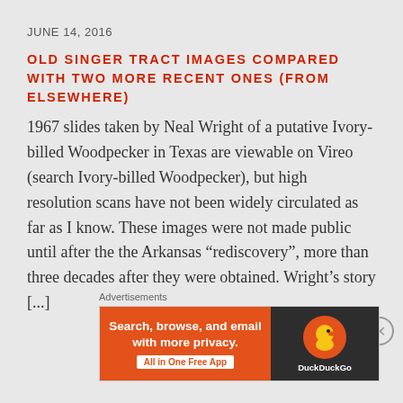JUNE 14, 2016
OLD SINGER TRACT IMAGES COMPARED WITH TWO MORE RECENT ONES (FROM ELSEWHERE)
1967 slides taken by Neal Wright of a putative Ivory-billed Woodpecker in Texas are viewable on Vireo (search Ivory-billed Woodpecker), but high resolution scans have not been widely circulated as far as I know. These images were not made public until after the the Arkansas “rediscovery”, more than three decades after they were obtained. Wright’s story [...]
Advertisements
[Figure (screenshot): DuckDuckGo advertisement banner: orange left panel with white text 'Search, browse, and email with more privacy. All in One Free App', dark right panel with DuckDuckGo logo and text.]